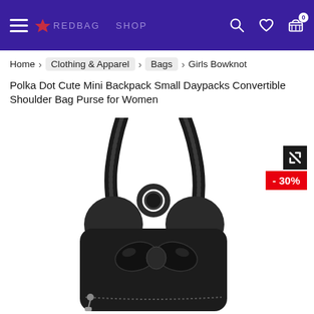Navigation header with hamburger menu, logo, search, wishlist, and cart icons
Home > Clothing & Apparel > Bags > Girls Bowknot Polka Dot Cute Mini Backpack Small Daypacks Convertible Shoulder Bag Purse for Women
Girls Bowknot Polka Dot Cute Mini Backpack Small Daypacks Convertible Shoulder Bag Purse for Women
[Figure (photo): Black mini backpack with mouse ears and bowknot decoration, shown from the front/back angle displaying the straps and top handle. - 30% discount badge visible in top right.]